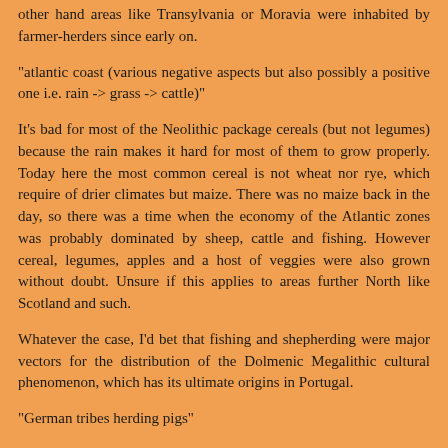other hand areas like Transylvania or Moravia were inhabited by farmer-herders since early on.
"atlantic coast (various negative aspects but also possibly a positive one i.e. rain -> grass -> cattle)"
It's bad for most of the Neolithic package cereals (but not legumes) because the rain makes it hard for most of them to grow properly. Today here the most common cereal is not wheat nor rye, which require of drier climates but maize. There was no maize back in the day, so there was a time when the economy of the Atlantic zones was probably dominated by sheep, cattle and fishing. However cereal, legumes, apples and a host of veggies were also grown without doubt. Unsure if this applies to areas further North like Scotland and such.
Whatever the case, I'd bet that fishing and shepherding were major vectors for the distribution of the Dolmenic Megalithic cultural phenomenon, which has its ultimate origins in Portugal.
"German tribes herding pigs"